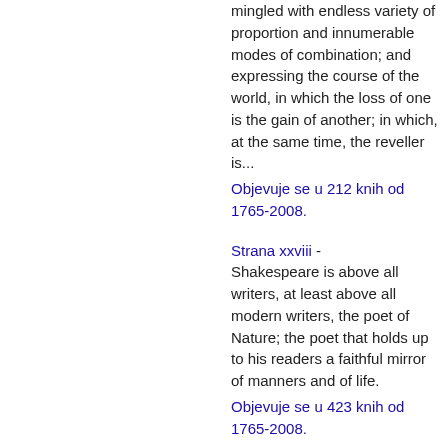mingled with endless variety of proportion and innumerable modes of combination; and expressing the course of the world, in which the loss of one is the gain of another; in which, at the same time, the reveller is...
Objevuje se u 212 knih od 1765-2008.
Strana xxviii - Shakespeare is above all writers, at least above all modern writers, the poet of Nature; the poet that holds up to his readers a faithful mirror of manners and of life.
Objevuje se u 423 knih od 1765-2008.